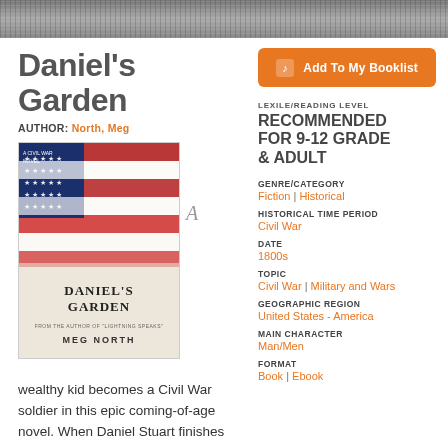Daniel's Garden
AUTHOR: North, Meg
[Figure (illustration): Book cover of Daniel's Garden showing an American flag with text 'Daniel's Garden' and author 'Meg North']
A
wealthy kid becomes a Civil War soldier in this epic coming-of-age novel. When Daniel Stuart finishes his Harvard freshman term in June 1862, he learns life at
[Figure (other): Add To My Booklist button with orange background]
LEXILE/READING LEVEL
RECOMMENDED FOR 9-12 GRADE & ADULT
GENRE/CATEGORY
Fiction | Historical
HISTORICAL TIME PERIOD
Civil War
DATE
1800s
TOPIC
Civil War | Military and Wars
GEOGRAPHIC REGION
United States - America
MAIN CHARACTER
Man/Men
FORMAT
Book | Ebook